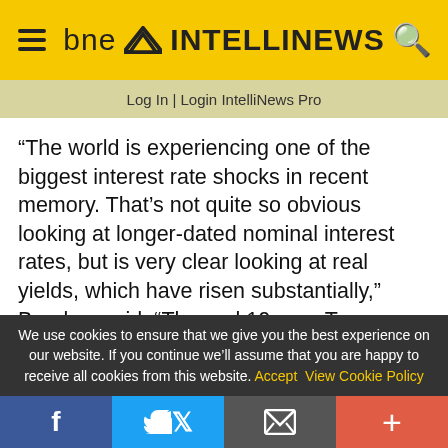bne INTELLINEWS
Log In | Login IntelliNews Pro
“The world is experiencing one of the biggest interest rate shocks in recent memory. That’s not quite so obvious looking at longer-dated nominal interest rates, but is very clear looking at real yields, which have risen substantially,” Brookes said. “The real 10-year Treasury yield in the US is up from -1.1% at the end of last year to +0.7% now, a bigger rise than during the 2013 “taper tantrum.” Higher-
We use cookies to ensure that we give you the best experience on our website. If you continue we’ll assume that you are happy to receive all cookies from this website. Accept  View Cookie Policy